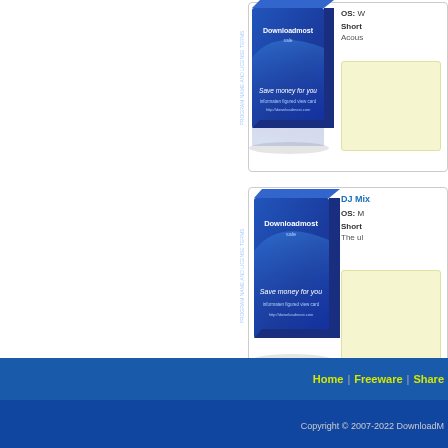[Figure (illustration): Software product box with Downloadmost sale branding, blue gradient box, 'Save money for you' text]
OS: W
Short Description: Acous
[Figure (illustration): Software product box with Downloadmost sale branding, blue gradient box, 'Save money for you' text]
DJ Mix
OS: M
Short Description: The ul
Home | Freeware | Share
Copyright © 2007-2022 DownloadM